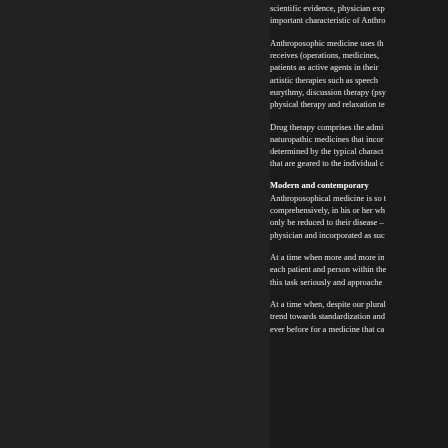scientific evidence, physician exp important characteristic of Anthro
Anthroposophic medicine uses th receives (operations, medicines, patients as active agents in their artistic therapies such as speech eurythmy, discussion therapy (psy physical therapy and relaxation te
Drug therapy comprises the admi naturopathic medicines that incor determined by the typical charact that are geared to the individual c
Modern and contemporary
Anthroposophical medicine is so t comprehensively, in his or her wh only be reduced to their disease – physician and incorporated as suc
At a time when more and more in each patient and person within the this task seriously and approache
At a time when, despite our plural trend towards standardization and ever before for a medicine that ca